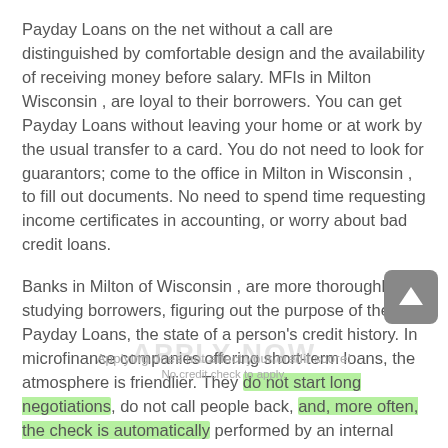Payday Loans on the net without a call are distinguished by comfortable design and the availability of receiving money before salary. MFIs in Milton Wisconsin , are loyal to their borrowers. You can get Payday Loans without leaving your home or at work by the usual transfer to a card. You do not need to look for guarantors; come to the office in Milton in Wisconsin , to fill out documents. No need to spend time requesting income certificates in accounting, or worry about bad credit loans.
Banks in Milton of Wisconsin , are more thoroughly studying borrowers, figuring out the purpose of the Payday Loans, the state of a person's credit history. In microfinance companies offering short-term loans, the atmosphere is friendlier. They do not start long negotiations, do not call people back, and, more often, the check is automatically performed by an internal system-program.
About 350,000 Payday Loans are issued each day in the